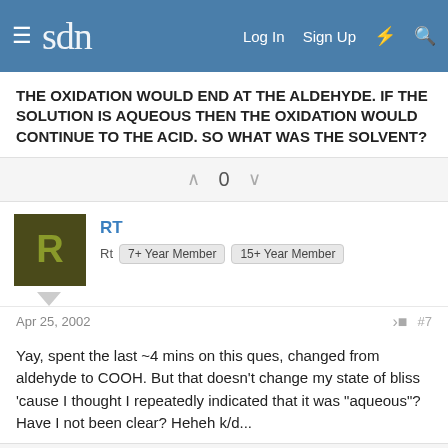sdn | Log In  Sign Up
THE OXIDATION WOULD END AT THE ALDEHYDE. IF THE SOLUTION IS AQUEOUS THEN THE OXIDATION WOULD CONTINUE TO THE ACID. SO WHAT WAS THE SOLVENT?
0
RT
Rt  7+ Year Member  15+ Year Member
Apr 25, 2002  #7
Yay, spent the last ~4 mins on this ques, changed from aldehyde to COOH. But that doesn't change my state of bliss 'cause I thought I repeatedly indicated that it was "aqueous"? Have I not been clear? Heheh k/d...
0
Blitzkrieg